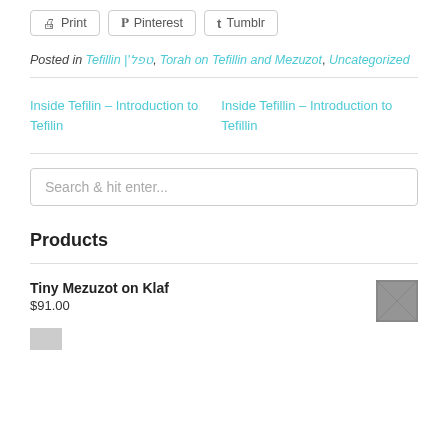Print | Pinterest | Tumblr
Posted in Tefillin |'טפל, Torah on Tefillin and Mezuzot, Uncategorized
Inside Tefilin – Introduction to Tefilin
Inside Tefillin – Introduction to Tefillin
Search & hit enter...
Products
Tiny Mezuzot on Klaf
$91.00